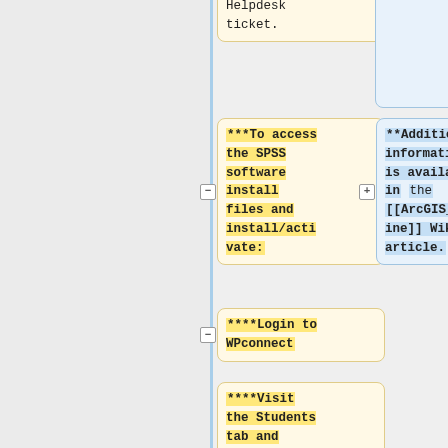Helpdesk ticket.
***To access the SPSS software install files and install/activate:
**Additional information is available in the [[ArcGIS_Online]] Wiki article.
****Login to WPconnect
****Visit the Students tab and search for or click on the My Home Use Software List - Student